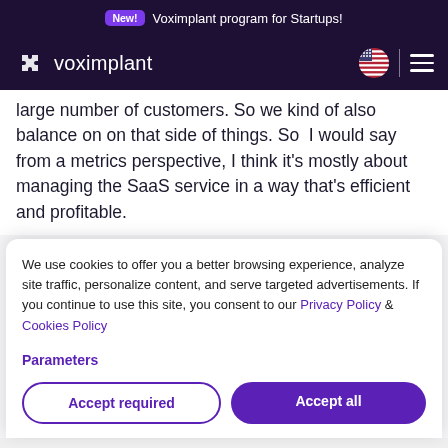New! Voximplant program for Startups!
voximplant
large number of customers. So we kind of also balance on on that side of things. So  I would say from a metrics perspective, I think it's mostly about managing the SaaS service in a way that's efficient and profitable.
We use cookies to offer you a better browsing experience, analyze site traffic, personalize content, and serve targeted advertisements. If you continue to use this site, you consent to our Privacy Policy & Cookies Policy
Parameters
Accept required
Accept all